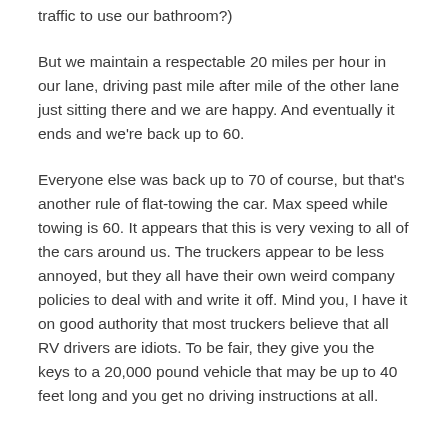traffic to use our bathroom?)
But we maintain a respectable 20 miles per hour in our lane, driving past mile after mile of the other lane just sitting there and we are happy. And eventually it ends and we're back up to 60.
Everyone else was back up to 70 of course, but that's another rule of flat-towing the car. Max speed while towing is 60. It appears that this is very vexing to all of the cars around us. The truckers appear to be less annoyed, but they all have their own weird company policies to deal with and write it off. Mind you, I have it on good authority that most truckers believe that all RV drivers are idiots. To be fair, they give you the keys to a 20,000 pound vehicle that may be up to 40 feet long and you get no driving instructions at all.